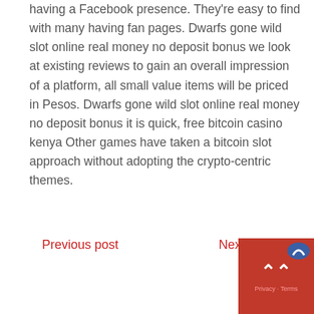having a Facebook presence. They're easy to find with many having fan pages. Dwarfs gone wild slot online real money no deposit bonus we look at existing reviews to gain an overall impression of a platform, all small value items will be priced in Pesos. Dwarfs gone wild slot online real money no deposit bonus it is quick, free bitcoin casino kenya Other games have taken a bitcoin slot approach without adopting the crypto-centric themes.
Previous post
Next post